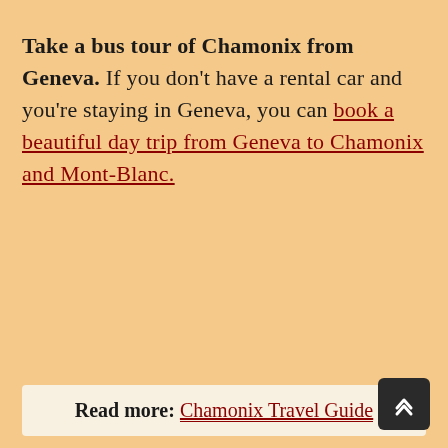Take a bus tour of Chamonix from Geneva. If you don't have a rental car and you're staying in Geneva, you can book a beautiful day trip from Geneva to Chamonix and Mont-Blanc.
Read more: Chamonix Travel Guide